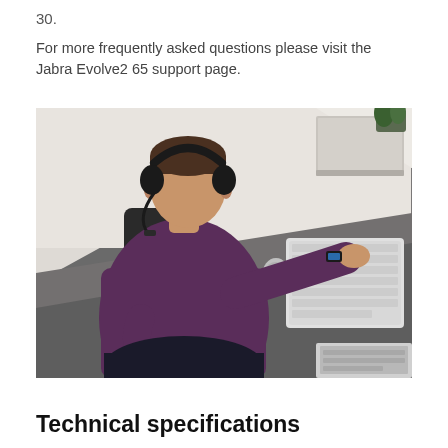30.
For more frequently asked questions please visit the Jabra Evolve2 65 support page.
[Figure (photo): Man wearing a Jabra Evolve2 65 wireless headset, seated in an office chair at a desk, using a keyboard and mouse, with a laptop and plant visible in the background.]
Technical specifications